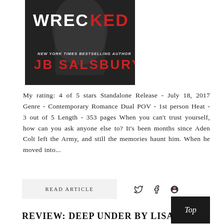[Figure (illustration): Book cover of 'Wrecked' by JB Salsbury. Dark background with a man's torso, white and red text reading 'WRECKED', subtitle 'NEW YORK TIMES BESTSELLING AUTHOR', author name 'JB SALSBURY' in red.]
My rating: 4 of 5 stars Standalone Release - July 18, 2017 Genre - Contemporary Romance Dual POV - 1st person Heat - 3 out of 5 Length - 353 pages When you can't trust yourself, how can you ask anyone else to? It's been months since Aden Colt left the Army, and still the memories haunt him. When he moved into...
READ ARTICLE
Top
REVIEW: DEEP UNDER BY LISA